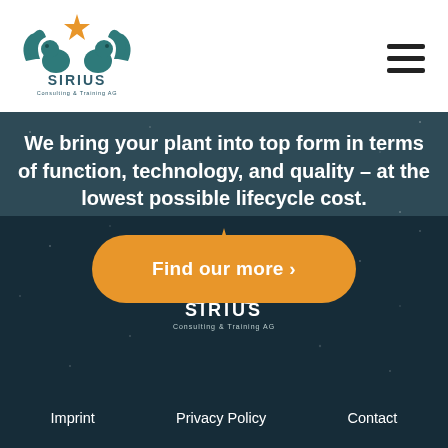[Figure (logo): Sirius Consulting & Training AG logo with two winged lion figures and a star, teal color scheme, on white header]
We bring your plant into top form in terms of function, technology, and quality – at the lowest possible lifecycle cost.
[Figure (other): Orange rounded button with text 'Find our more ›']
[Figure (logo): Sirius Consulting & Training AG logo in white with two winged lion figures and an orange star, on dark footer background]
Imprint   Privacy Policy   Contact